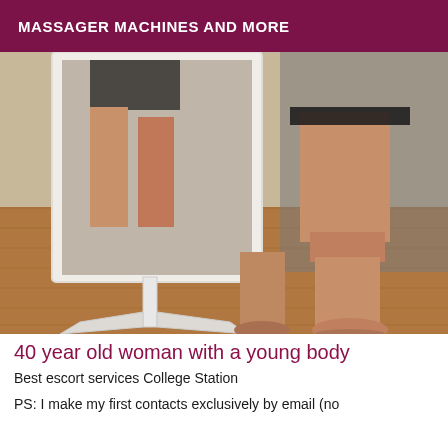MASSAGER MACHINES AND MORE
[Figure (photo): A person standing near a full-length white floor mirror in a room with wooden flooring. The person's legs and lower body are visible, wearing a short dark outfit, with a reflection visible in the mirror.]
40 year old woman with a young body
Best escort services College Station
PS: I make my first contacts exclusively by email (no